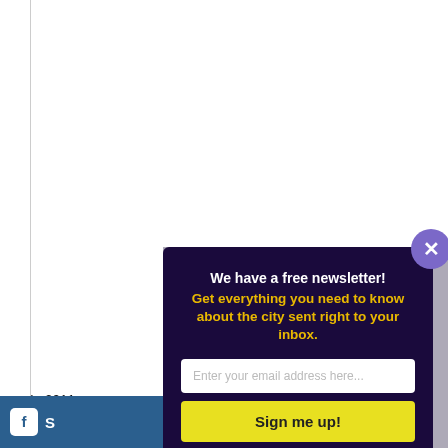In 2011, ... with the ... in the a... in the a... increme...
[Figure (screenshot): Newsletter signup modal popup with dark purple background. Title: 'We have a free newsletter!' in white, subtitle 'Get everything you need to know about the city sent right to your inbox.' in yellow. Email input field and 'Sign me up!' yellow button. Close button (X) in top-right corner.]
S... (share bar with Facebook icon)